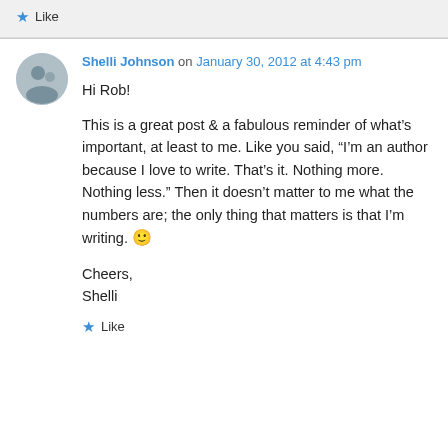Like
Shelli Johnson on January 30, 2012 at 4:43 pm
Hi Rob!

This is a great post & a fabulous reminder of what's important, at least to me. Like you said, “I’m an author because I love to write. That’s it. Nothing more. Nothing less.” Then it doesn’t matter to me what the numbers are; the only thing that matters is that I’m writing. 🙂

Cheers,
Shelli
Like